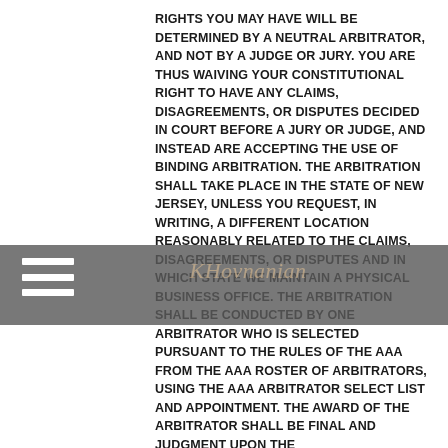RIGHTS YOU MAY HAVE WILL BE DETERMINED BY A NEUTRAL ARBITRATOR, AND NOT BY A JUDGE OR JURY. YOU ARE THUS WAIVING YOUR CONSTITUTIONAL RIGHT TO HAVE ANY CLAIMS, DISAGREEMENTS, OR DISPUTES DECIDED IN COURT BEFORE A JURY OR JUDGE, AND INSTEAD ARE ACCEPTING THE USE OF BINDING ARBITRATION. THE ARBITRATION SHALL TAKE PLACE IN THE STATE OF NEW JERSEY, UNLESS YOU REQUEST, IN WRITING, A DIFFERENT LOCATION REASONABLY RELATED TO THE CLAIMS, DISAGREEMENTS, OR DISPUTES AND IN WHICH STATE WE MAINTAIN A PHYSICAL BUSINESS OFFICE. THE ARBITRATION SHALL BE CONDUCTED BY ONE ARBITRATOR WHO IS SELECTED PURSUANT TO THE RULES OF THE AAA FROM THE AAA ROSTER OF ARBITRATORS, USING THE AAA ARBITRATOR SELECT LIST AND APPOINTMENT. THE AWARD OF THE ARBITRATOR SHALL BE FINAL AND JUDGMENT UPON THE